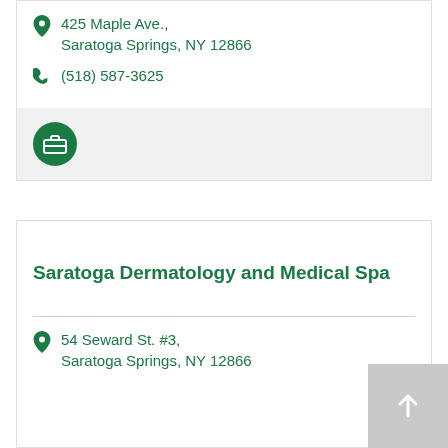425 Maple Ave., Saratoga Springs, NY 12866
(518) 587-3625
[Figure (illustration): Dark green circle with white briefcase icon]
Saratoga Dermatology and Medical Spa
54 Seward St. #3, Saratoga Springs, NY 12866